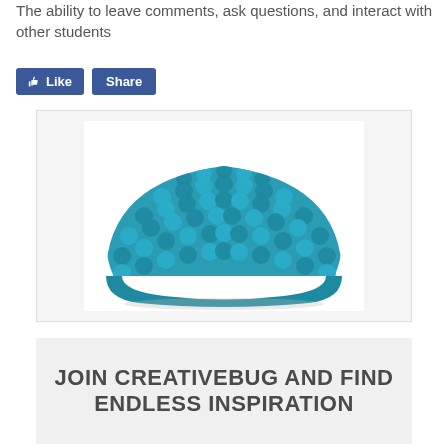The ability to leave comments, ask questions, and interact with other students
[Figure (illustration): Blue/teal crochet hat piece, semicircular shape, photographed on white background]
JOIN CREATIVEBUG AND FIND ENDLESS INSPIRATION